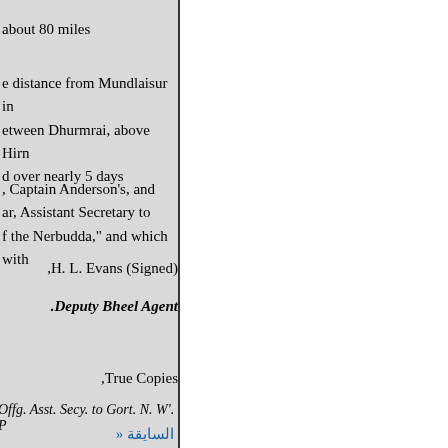about 80 miles
e distance from Mundlaisur in etween Dhurmrai, above Hirn d over nearly 5 days
, Captain Anderson's, and ar, Assistant Secretary to f the Nerbudda," and which with
,H. L. Evans (Signed)
.Deputy Bheel Agent
,True Copies
Offg. Asst. Secy. to Gort. N. W'. P
» السايقة